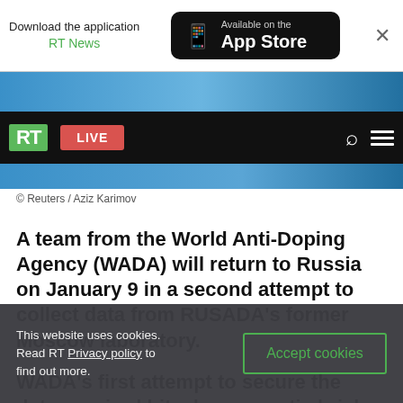Download the application RT News — Available on the App Store
[Figure (screenshot): RT news website navigation bar with RT logo, LIVE button, search icon and hamburger menu on black background]
© Reuters / Aziz Karimov
A team from the World Anti-Doping Agency (WADA) will return to Russia on January 9 in a second attempt to collect data from RUSADA's former Moscow laboratory.
WADA's first attempt to secure the data required hit a bureaucratic brick wall in December when Rusian authorities raised issues with the
This website uses cookies. Read RT Privacy policy to find out more.